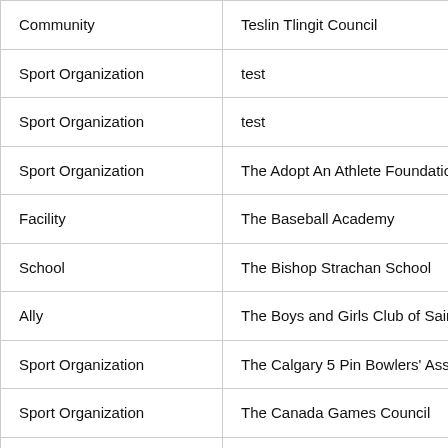| Community | Teslin Tlingit Council |
| Sport Organization | test |
| Sport Organization | test |
| Sport Organization | The Adopt An Athlete Foundation |
| Facility | The Baseball Academy |
| School | The Bishop Strachan School |
| Ally | The Boys and Girls Club of Saint John |
| Sport Organization | The Calgary 5 Pin Bowlers' Associatio |
| Sport Organization | The Canada Games Council |
| Sport Organization | The Canadian Professional Golfers' A |